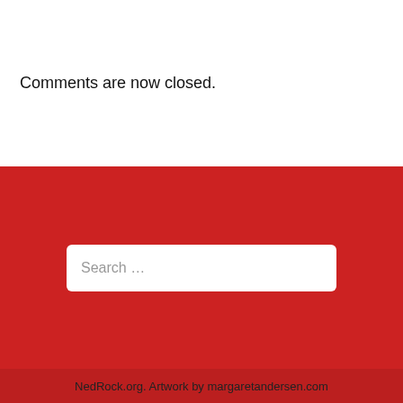Comments are now closed.
[Figure (screenshot): Search input box with placeholder text 'Search ...' on a red background]
NedRock.org. Artwork by margaretandersen.com